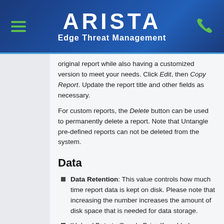ARISTA Edge Threat Management
original report while also having a customized version to meet your needs. Click Edit, then Copy Report. Update the report title and other fields as necessary.
For custom reports, the Delete button can be used to permanently delete a report. Note that Untangle pre-defined reports can not be deleted from the system.
Data
Data Retention: This value controls how much time report data is kept on disk. Please note that increasing the number increases the amount of disk space that is needed for data storage.
'Upload Data to Google Drive If enabled,